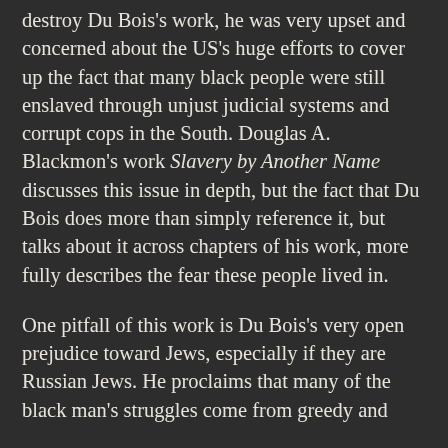destroy Du Bois's work, he was very upset and concerned about the US's huge efforts to cover up the fact that many black people were still enslaved through unjust judicial systems and corrupt cops in the South. Douglas A. Blackmon's work Slavery by Another Name discusses this issue in depth, but the fact that Du Bois does more than simply reference it, but talks about it across chapters of his work, more fully describes the fear these people lived in.
One pitfall of this work is Du Bois's very open prejudice toward Jews, especially if they are Russian Jews. He proclaims that many of the black man's struggles come from greedy and